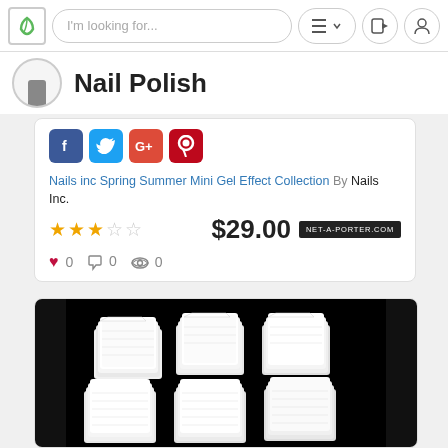I'm looking for...
Nail Polish
[Figure (screenshot): Social media sharing icons: Facebook, Twitter, Google+, Pinterest]
Nails inc Spring Summer Mini Gel Effect Collection By Nails Inc. $29.00 net-a-porter.com
★★★☆☆  ♥ 0  ✉ 0  👁 0
[Figure (photo): White cotton nail wipe pads arranged in a grid on a black background]